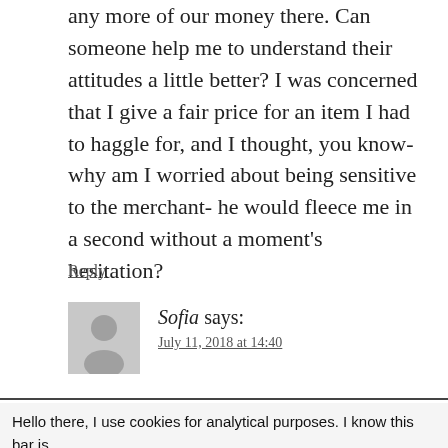any more of our money there. Can someone help me to understand their attitudes a little better? I was concerned that I give a fair price for an item I had to haggle for, and I thought, you know- why am I worried about being sensitive to the merchant- he would fleece me in a second without a moment's hesitation?
Reply
Sofia says: July 11, 2018 at 14:40
Hello there, I use cookies for analytical purposes. I know this bar is annoying so just click 'accept' to get rid of it. Accept Want to know more?